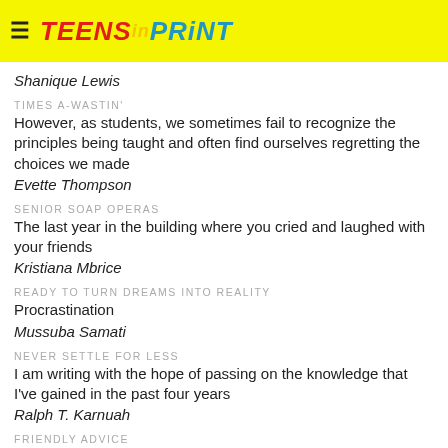TEENS in PRINT
Shanique Lewis
TIMES A-WASTIN'
However, as students, we sometimes fail to recognize the principles being taught and often find ourselves regretting the choices we made
Evette Thompson
SENIOR SOAP OPERAS
The last year in the building where you cried and laughed with your friends
Kristiana Mbrice
READY TO TURN DREAMS INTO REALITY
Procrastination
Mussuba Samati
NEVER SETTLE FOR LESS
I am writing with the hope of passing on the knowledge that I've gained in the past four years
Ralph T. Karnuah
FRIENDLY ADVICE